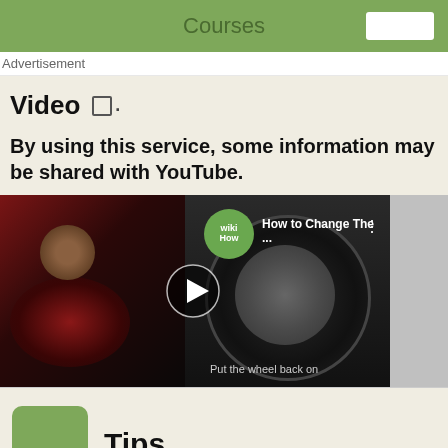Courses
Advertisement
Video □.
By using this service, some information may be shared with YouTube.
[Figure (screenshot): YouTube video thumbnail showing a person changing a car tire. WikiHow logo visible, title reads 'How to Change The ...' with a play button in the center. Subtitle text 'Put the wheel back on' at bottom.]
Tips